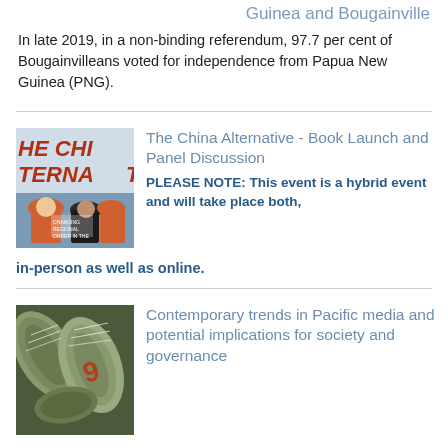Guinea and Bougainville
In late 2019, in a non-binding referendum, 97.7 per cent of Bougainvilleans voted for independence from Papua New Guinea (PNG).
[Figure (photo): Book cover of 'The China Alternative' showing text overlay on a bluish background with people in hard hats]
The China Alternative - Book Launch and Panel Discussion
PLEASE NOTE: This event is a hybrid event and will take place both, in-person as well as online.
[Figure (photo): Rolled-up newspapers photographed from above showing various newspaper titles]
Contemporary trends in Pacific media and potential implications for society and governance
PLEASE NOTE: This event is a hybrid event and will take place